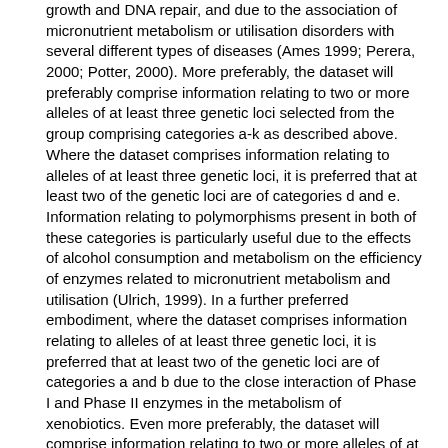growth and DNA repair, and due to the association of micronutrient metabolism or utilisation disorders with several different types of diseases (Ames 1999; Perera, 2000; Potter, 2000). More preferably, the dataset will preferably comprise information relating to two or more alleles of at least three genetic loci selected from the group comprising categories a-k as described above. Where the dataset comprises information relating to alleles of at least three genetic loci, it is preferred that at least two of the genetic loci are of categories d and e. Information relating to polymorphisms present in both of these categories is particularly useful due to the effects of alcohol consumption and metabolism on the efficiency of enzymes related to micronutrient metabolism and utilisation (Ulrich, 1999). In a further preferred embodiment, where the dataset comprises information relating to alleles of at least three genetic loci, it is preferred that at least two of the genetic loci are of categories a and b due to the close interaction of Phase I and Phase II enzymes in the metabolism of xenobiotics. Even more preferably, the dataset will comprise information relating to two or more alleles of at least four genetic loci of genes selected from the group comprising categories a-k as defined above, for example, a+b+c+d, a+b+c+e, a+b+d+e, a+c+d+e, b+c+d+e etc. Where the dataset comprises information relating to alleles of at least four genetic loci, it is preferred that at least three of the genetic loci are of categories d and e and f Information relating to polymorphisms present in these three categories is particularly useful due to the strong correlation of polymorphisms of these alleles with